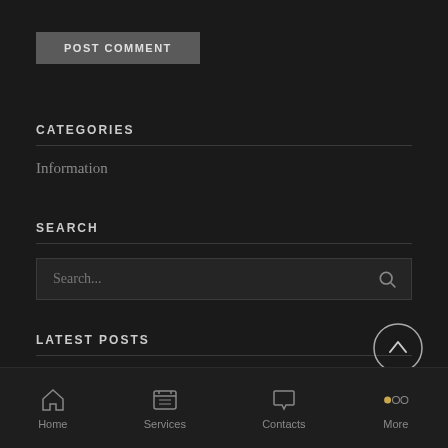[Figure (screenshot): POST COMMENT button - dark gray rectangular button with white uppercase text]
CATEGORIES
Information
SEARCH
[Figure (screenshot): Search input box with placeholder text 'Search...' and magnifying glass icon on the right]
LATEST POSTS
[Figure (screenshot): Scroll-to-top circular button with upward arrow icon, positioned at right side]
[Figure (screenshot): Bottom navigation bar with Home, Services, Contacts, and More icons]